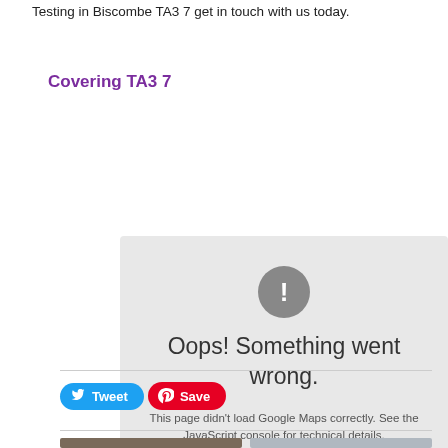Testing in Biscombe TA3 7 get in touch with us today.
Covering TA3 7
[Figure (screenshot): Google Maps error box with grey background showing exclamation mark icon, 'Oops! Something went wrong.' heading, and 'This page didn't load Google Maps correctly. See the JavaScript console for technical details.' subtext.]
[Figure (other): Tweet button (blue rounded) and Save button (red rounded with Pinterest logo)]
[Figure (photo): Two partial photos side by side at the bottom of the page — left appears dark/clothing, right appears lighter/interior]